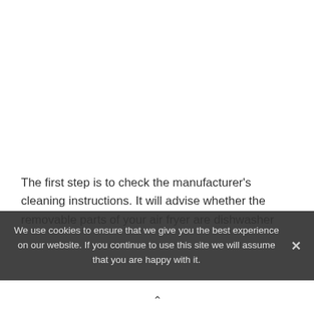The first step is to check the manufacturer's cleaning instructions. It will advise whether the removable parts of your air fryer are dishwasher
We use cookies to ensure that we give you the best experience on our website. If you continue to use this site we will assume that you are happy with it.